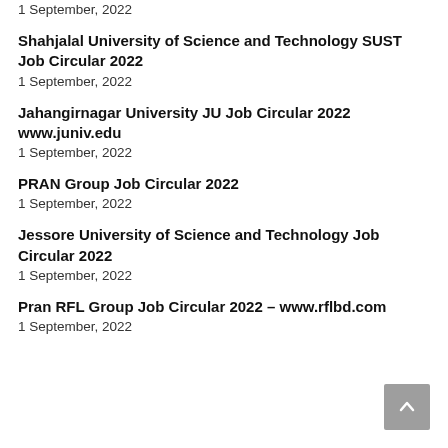1 September, 2022
Shahjalal University of Science and Technology SUST Job Circular 2022
1 September, 2022
Jahangirnagar University JU Job Circular 2022 www.juniv.edu
1 September, 2022
PRAN Group Job Circular 2022
1 September, 2022
Jessore University of Science and Technology Job Circular 2022
1 September, 2022
Pran RFL Group Job Circular 2022 – www.rflbd.com
1 September, 2022